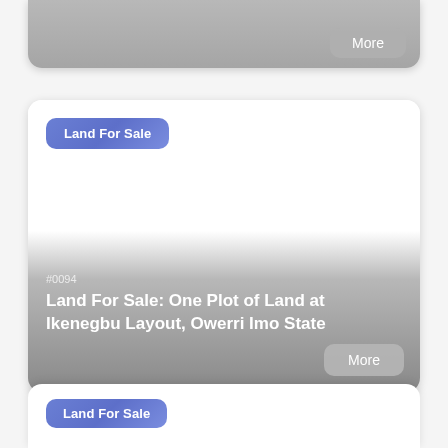[Figure (other): Top portion of a real estate listing card with a gray gradient background and a 'More' button, partially visible at top of page]
[Figure (other): Real estate listing card for 'Land For Sale' at Ikenegbu Layout, Owerri Imo State. Card shows a white image area with a 'Land For Sale' badge, property ID #0094, title text, and a 'More' button on a gray gradient overlay.]
#0094
Land For Sale: One Plot of Land at Ikenegbu Layout, Owerri Imo State
[Figure (other): Bottom portion of another real estate listing card with 'Land For Sale' badge, partially visible at bottom of page]